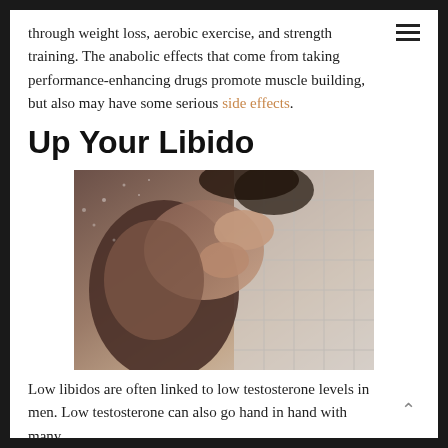through weight loss, aerobic exercise, and strength training. The anabolic effects that come from taking performance-enhancing drugs promote muscle building, but also may have some serious side effects.
Up Your Libido
[Figure (photo): Two people embracing in a shower, close-up showing arms, shoulders and hands against tiled wall background]
Low libidos are often linked to low testosterone levels in men. Low testosterone can also go hand in hand with many